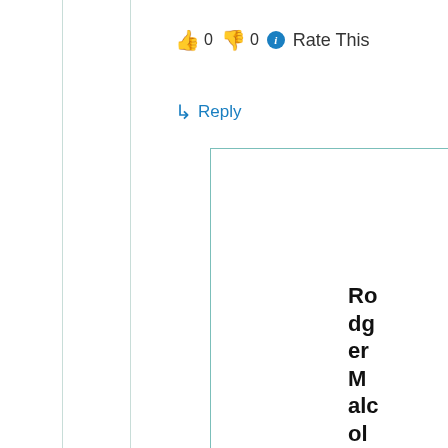👍 0 👎 0 ℹ Rate This
↳ Reply
Rodger Malcolm Mitchell